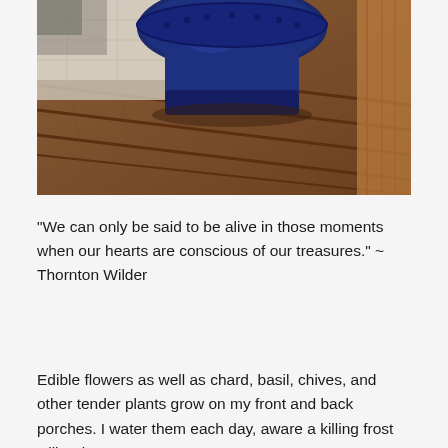[Figure (photo): Close-up photo of a dark blue ceramic pot sitting on wooden deck planks, with a textured rug or mat visible in the upper left corner. The wooden planks show warm brown tones with visible grain lines.]
"We can only be said to be alive in those moments when our hearts are conscious of our treasures." ~ Thornton Wilder
Edible flowers as well as chard, basil, chives, and other tender plants grow on my front and back porches. I water them each day, aware a killing frost will arrive